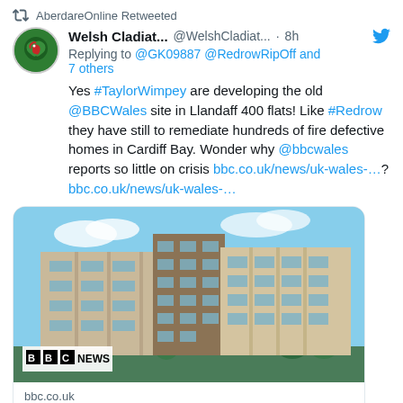AberdareOnline Retweeted
Welsh Cladiat... @WelshCladiat... · 8h
Replying to @GK09887 @RedrowRipOff and 7 others
Yes #TaylorWimpey are developing the old @BBCWales site in Llandaff 400 flats! Like #Redrow they have still to remediate hundreds of fire defective homes in Cardiff Bay. Wonder why @bbcwales reports so little on crisis bbc.co.uk/news/uk-wales-…? bbc.co.uk/news/uk-wales-….
[Figure (photo): Architectural rendering of modern apartment buildings with glass balconies and landscaped grounds, BBC NEWS logo overlay]
bbc.co.uk
BBC Wales site set for 400 new homes